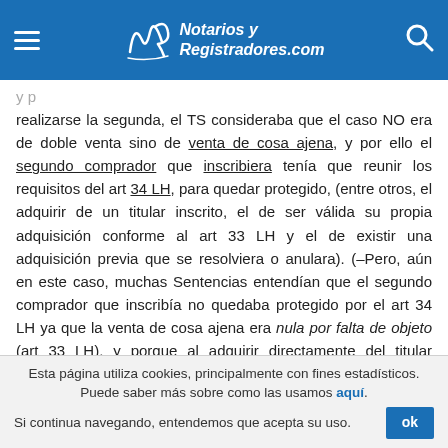Notarios y Registradores.com
y p realizarse la segunda, el TS consideraba que el caso NO era de doble venta sino de venta de cosa ajena, y por ello el segundo comprador que inscribiera tenía que reunir los requisitos del art 34 LH, para quedar protegido, (entre otros, el adquirir de un titular inscrito, el de ser válida su propia adquisición conforme al art 33 LH y el de existir una adquisición previa que se resolviera o anulara). (–Pero, aún en este caso, muchas Sentencias entendían que el segundo comprador que inscribía no quedaba protegido por el art 34 LH ya que la venta de cosa ajena era nula por falta de objeto (art 33 LH), y porque al adquirir directamente del titular inscrito NO se daba el requisito de que se anulara o
Esta página utiliza cookies, principalmente con fines estadísticos. Puede saber más sobre como las usamos aquí. Si continua navegando, entendemos que acepta su uso.